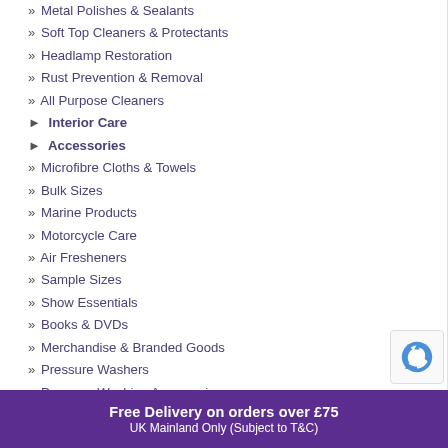» Metal Polishes & Sealants
» Soft Top Cleaners & Protectants
» Headlamp Restoration
» Rust Prevention & Removal
» All Purpose Cleaners
► Interior Care
► Accessories
» Microfibre Cloths & Towels
» Bulk Sizes
» Marine Products
» Motorcycle Care
» Air Fresheners
» Sample Sizes
» Show Essentials
» Books & DVDs
» Merchandise & Branded Goods
» Pressure Washers
» Pressure Washing Accessories
» Wet or Dry Vacuum Cleaners
» Vehicle Maintenance
Free Delivery on orders over £75
UK Mainland Only (Subject to T&C)